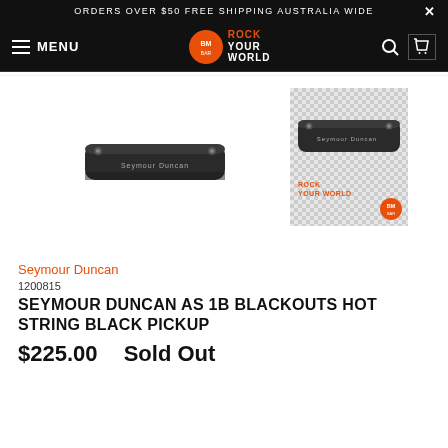ORDERS OVER $50 FREE SHIPPING AUSTRALIA WIDE
[Figure (screenshot): Website navigation bar with hamburger menu, BM Rock Your World logo, search and cart icons on black background]
[Figure (photo): Two Seymour Duncan AS 1B Blackouts Hot String Black Pickup guitar pickups, one on white background and one on checkered background with Rock Your World badge]
Seymour Duncan
1200815
SEYMOUR DUNCAN AS 1B BLACKOUTS HOT STRING BLACK PICKUP
$225.00  Sold Out